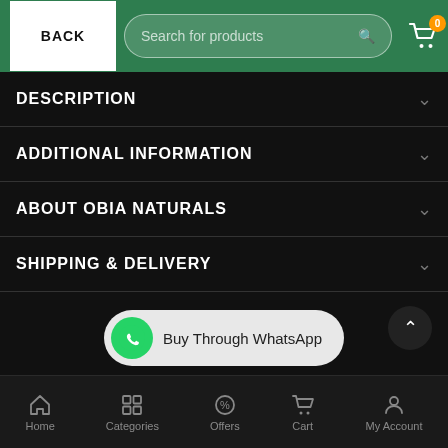BACK | Search for products | Cart (0)
DESCRIPTION
ADDITIONAL INFORMATION
ABOUT OBIA NATURALS
SHIPPING & DELIVERY
[Figure (other): WhatsApp button: Buy Through WhatsApp]
Home | Categories | Offers | Cart | My Account